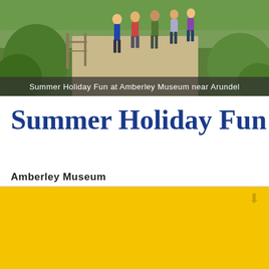[Figure (photo): People walking outdoors on a path surrounded by greenery, with text overlay 'Summer Holiday Fun at Amberley Museum near Arundel']
Summer Holiday Fun at Amberley Museum near Arundel
Summer Holiday Fun
Amberley Museum
CORONAVIRUS COVID19
Please use the relevant links for the latest information from venues & event organisers. All information on this website is given as a guide only and is subject to change.